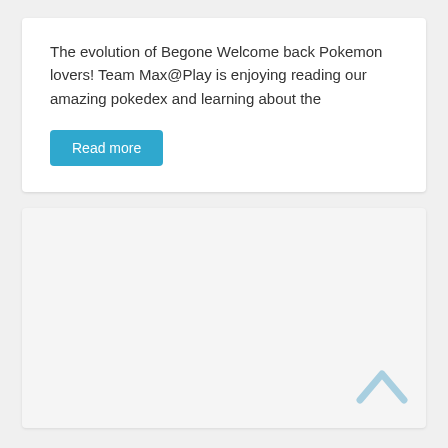The evolution of Begone Welcome back Pokemon lovers! Team Max@Play is enjoying reading our amazing pokedex and learning about the
Read more
[Figure (other): A light gray empty card/panel with a blue chevron-up arrow icon in the bottom right corner.]